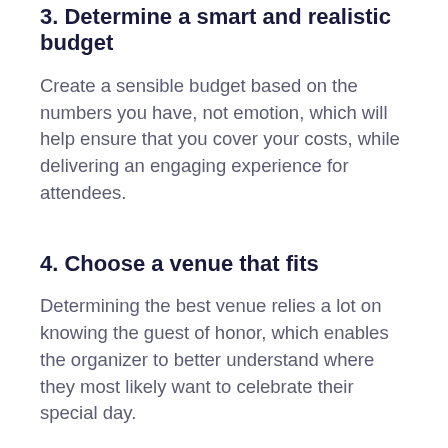3. Determine a smart and realistic budget
Create a sensible budget based on the numbers you have, not emotion, which will help ensure that you cover your costs, while delivering an engaging experience for attendees.
4. Choose a venue that fits
Determining the best venue relies a lot on knowing the guest of honor, which enables the organizer to better understand where they most likely want to celebrate their special day.